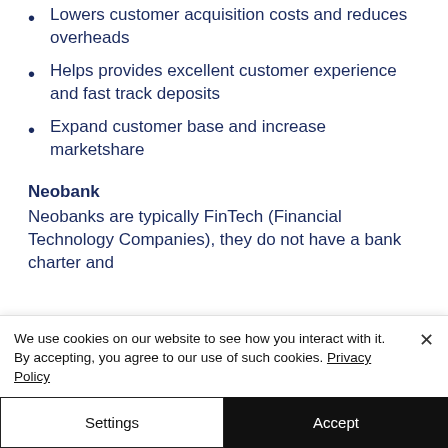Lowers customer acquisition costs and reduces overheads
Helps provides excellent customer experience and fast track deposits
Expand customer base and increase marketshare
Neobank
Neobanks are typically FinTech (Financial Technology Companies), they do not have a bank charter and
We use cookies on our website to see how you interact with it. By accepting, you agree to our use of such cookies. Privacy Policy